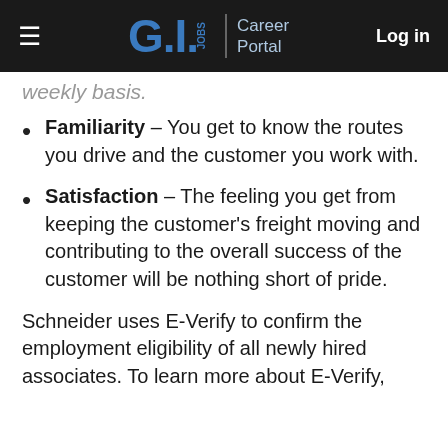GI.JOBS | Career Portal  Log in
Weekly basis.
Familiarity – You get to know the routes you drive and the customer you work with.
Satisfaction – The feeling you get from keeping the customer's freight moving and contributing to the overall success of the customer will be nothing short of pride.
Schneider uses E-Verify to confirm the employment eligibility of all newly hired associates. To learn more about E-Verify,